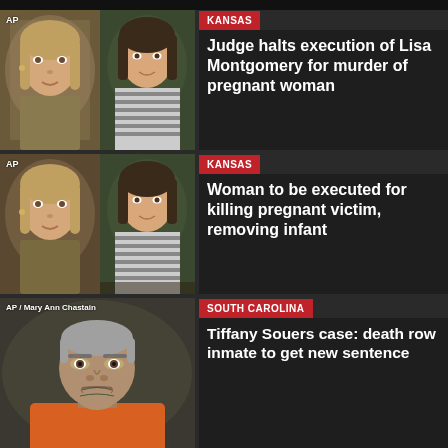[Figure (photo): Two-panel photo: left shows Lisa Montgomery (woman in khaki prison garb), right shows victim (young woman with dark hair in striped top). AP credit label.]
KANSAS
Judge halts execution of Lisa Montgomery for murder of pregnant woman
[Figure (photo): Two-panel photo: left shows Lisa Montgomery (same as above), right shows victim again. AP credit label.]
KANSAS
Woman to be executed for killing pregnant victim, removing infant
[Figure (photo): Photo of a male inmate with tattoos on neck, grey hair, wearing orange prison jumpsuit. Credit: AP / Mary Ann Chastain]
SOUTH CAROLINA
Tiffany Souers case: death row inmate to get new sentence